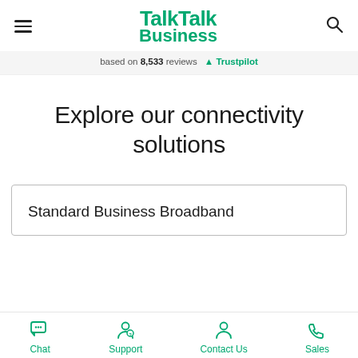TalkTalk Business
based on 8,533 reviews  Trustpilot
Explore our connectivity solutions
Standard Business Broadband
Chat  Support  Contact Us  Sales